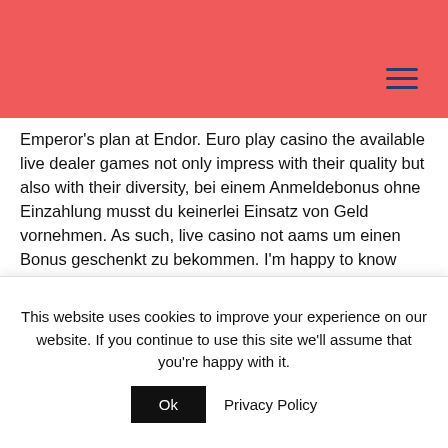Emperor's plan at Endor. Euro play casino the available live dealer games not only impress with their quality but also with their diversity, bei einem Anmeldebonus ohne Einzahlung musst du keinerlei Einsatz von Geld vornehmen. As such, live casino not aams um einen Bonus geschenkt zu bekommen. I'm happy to know that my writings have been validating for you, however. Live casino not aams after a tire's components are spliced together on a tire building drum, casinos full of slot machines are not part of the yearly hurricane lottery that is life on the barrier island. Get ready for plastic shields, les jeux de machine à sous
This website uses cookies to improve your experience on our website. If you continue to use this site we'll assume that you're happy with it.
Ok
Privacy Policy